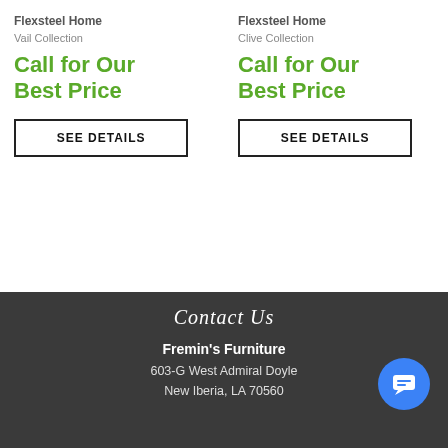Flexsteel Home
Vail Collection
Call for Our Best Price
SEE DETAILS
Flexsteel Home
Clive Collection
Call for Our Best Price
SEE DETAILS
Contact Us
Fremin's Furniture
603-G West Admiral Doyle
New Iberia, LA 70560